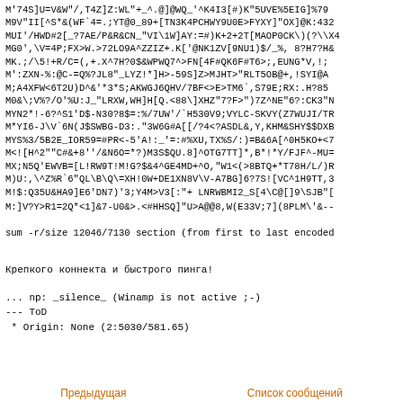M'74S]U=V&W"/,T4Z]Z:WL"+_^.@]@WQ_'^K4I3[#)K"5UVE%5EIG]%79
M9V"II[^S*&(WF`4=.;YT@0_89+[TN3K4PCHWY9U0E>FYXY]"OX]@K:432
MUI'/HWD#2[_?7AE/P&R&CN_"VI\1W]AY:=#)K+2+2T[MAOP0CK\)(?\X4
MG0',\V=4P;FX>W.>72LO9A^ZZIZ+.K['@NK1ZV[9NU1)$/_%, 8?H7?H&
MK.;/\5!+R/C=(,+.X^7H?0$&WPWQ7^>FN[4F#QK6F#T6>;,EUNG*V,!;
M':ZXN-%:@C-=Q%?JL8"_LYZ!*]H>-59S]Z>MJHT>"RLT5OB@+,!SYI@A
M;A4XFW<6T2U)D^&'*3*S;AKWGJ6QHV/7BF<>E>TM6`,S79E;RX:.H?85
M0&\;V%?/O'%U:J_"LRXW,WH]H[Q.<88\]XHZ"7?F>")7Z^NE"6?:CK3"N
MYN2*!-6?^S1'D$-N30?8$=:%/7UW'/`H530V9;VYLC-SKVY(Z7WUJI/TR
M*YI6-J\V`6N(J$SWBG-D3:."3W6G#A[[/?4<?ASDL&,Y,KHM&SHY$$DXB
MYS%3/5B2E_IOR59=#PR<-5'A!:_'=:#%XU,TX%S/:)=B&6A[^0H5KO+<7
M<![H^2""C#&+8''/&N6O=*?)M3S$QU.8]^OTG7TT]*,B*!*Y/FJF^-MU=
MX;N5Q'EWVB=[L!RW9T!M!G?$&4^GE4MD+^O,"W1<(>8BTQ+*T78H/L/)R
M)U:,\^Z%R`6"QL\B\Q\=XH!0W+DE1XN8V\V-A7BG]6?7S![VC^1H9TT,3
M!$:Q35U&HA9]E6'DN7)'3;Y4M>V3[:"+ LNRWBMI2_S[4\C@[]9\SJB"[
M:]V?Y>R1=2Q*<1]&7-U0&>.<#HHSQ]"U>A@@8,W(E33V;7](8PLM\'&--
sum -r/size 12046/7130 section (from first to last encoded
Крепкого коннекта и быстрого пинга!
... np: _silence_ (Winamp is not active ;-)
--- ToD
 * Origin: None (2:5030/581.65)
Предыдущая    Список сообщений